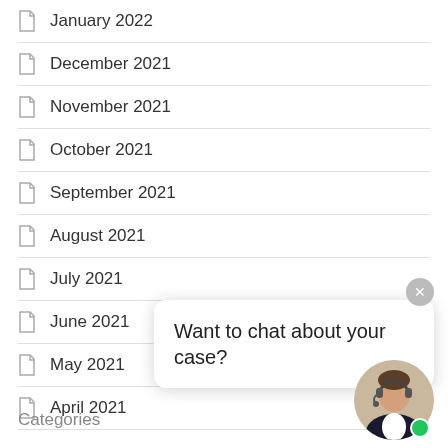January 2022
December 2021
November 2021
October 2021
September 2021
August 2021
July 2021
June 2021
May 2021
April 2021
Want to chat about your case?
Categories